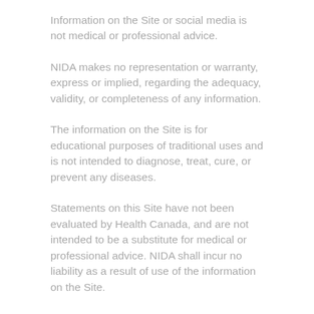Information on the Site or social media is not medical or professional advice.
NIDA makes no representation or warranty, express or implied, regarding the adequacy, validity, or completeness of any information.
The information on the Site is for educational purposes of traditional uses and is not intended to diagnose, treat, cure, or prevent any diseases.
Statements on this Site have not been evaluated by Health Canada, and are not intended to be a substitute for medical or professional advice. NIDA shall incur no liability as a result of use of the information on the Site.
Our newsletter is issued four times a year and is made with contributions from our members and communities who share their stories with us.